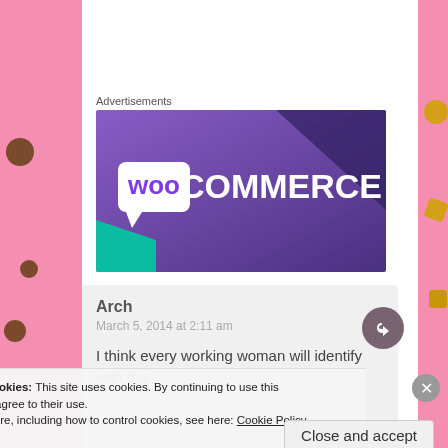Advertisements
[Figure (logo): WooCommerce advertisement banner with purple gradient background and WooCommerce logo in white text]
Arch
March 5, 2014 at 2:11 am

I think every working woman will identify with this
Privacy & Cookies: This site uses cookies. By continuing to use this website, you agree to their use.
To find out more, including how to control cookies, see here: Cookie Policy
Close and accept